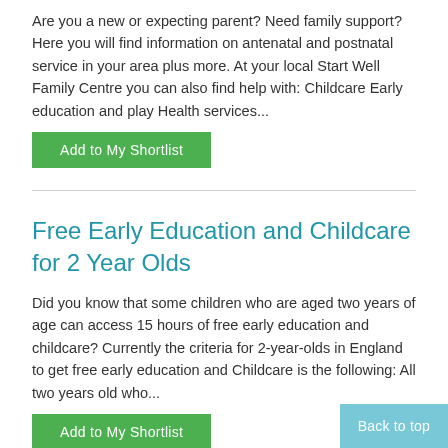Are you a new or expecting parent?  Need family support?  Here you will find information on antenatal and postnatal service in your area plus more. At your local Start Well Family Centre  you can also find help with: Childcare Early education and play Health services...
Add to My Shortlist
Free Early Education and Childcare for 2 Year Olds
Did you know that some children who are aged two years of age can access 15 hours of free early education and childcare? Currently the criteria for 2-year-olds in England to get free early education and Childcare is the following: All two years old who...
Add to My Shortlist
Free Early Education and childcare for 3 and 4 year olds
Back to top